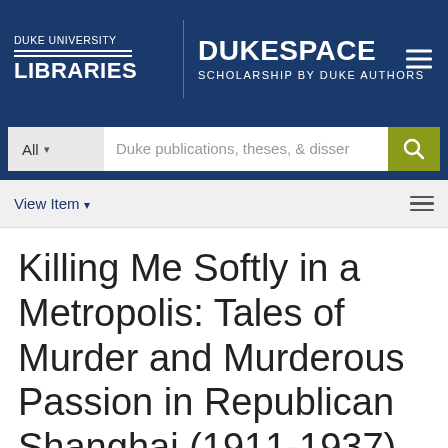DUKE UNIVERSITY LIBRARIES | DUKESPACE SCHOLARSHIP BY DUKE AUTHORS
Duke publications, theses, & dissertations
View Item
Killing Me Softly in a Metropolis: Tales of Murder and Murderous Passion in Republican Shanghai (1911-1937)